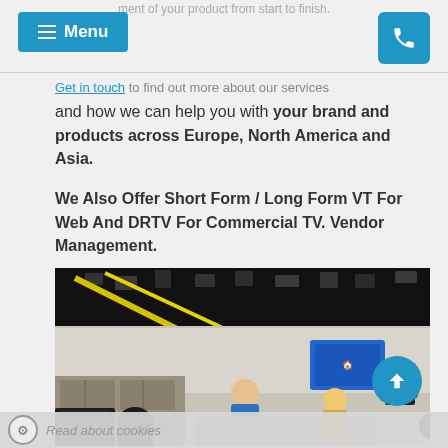Menu | [phone icon]
ment of your product from start to finish.
Get in touch to find out more about our services and how we can help you with your brand and products across Europe, North America and Asia.
We Also Offer Short Form / Long Form VT For Web And DRTV For Commercial TV. Vendor Management.
[Figure (photo): TV production studio with cameras, lighting rigs on ceiling, kitchen set, people working on set, blue branded screen in background]
Read about cookies